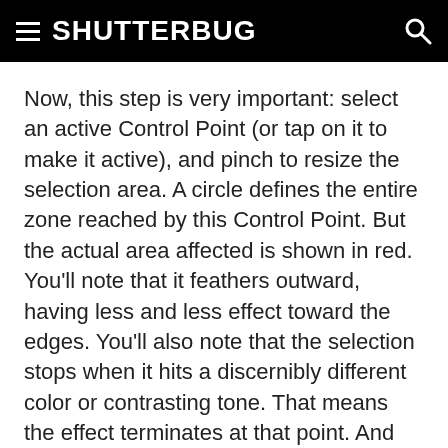SHUTTERBUG
Now, this step is very important: select an active Control Point (or tap on it to make it active), and pinch to resize the selection area. A circle defines the entire zone reached by this Control Point. But the actual area affected is shown in red. You'll note that it feathers outward, having less and less effect toward the edges. You'll also note that the selection stops when it hits a discernibly different color or contrasting tone. That means the effect terminates at that point. And keep in mind that Control Points can overlap and reinforce (or weaken) each other. This is helpful when you want to better control the edge of a selection or ensure continuity over a